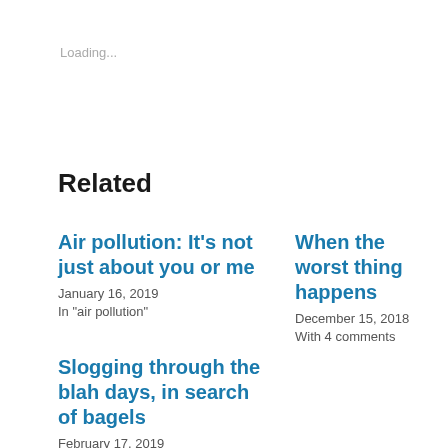Loading...
Related
Air pollution: It’s not just about you or me
January 16, 2019
In "air pollution"
When the worst thing happens
December 15, 2018
With 4 comments
Slogging through the blah days, in search of bagels
February 17, 2019
In "expat life"